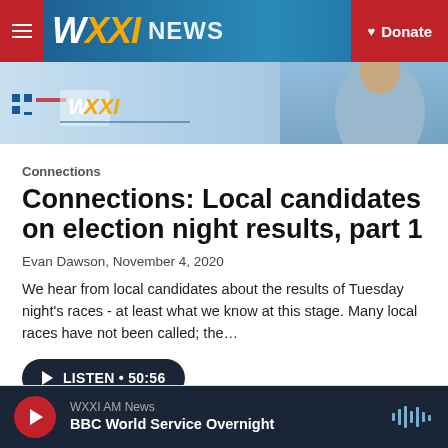WXXI NEWS | Donate
[Figure (screenshot): WXXI News website banner with person in background]
Connections
Connections: Local candidates on election night results, part 1
Evan Dawson, November 4, 2020
We hear from local candidates about the results of Tuesday night's races - at least what we know at this stage. Many local races have not been called; the…
LISTEN • 50:56
WXXI AM News — BBC World Service Overnight